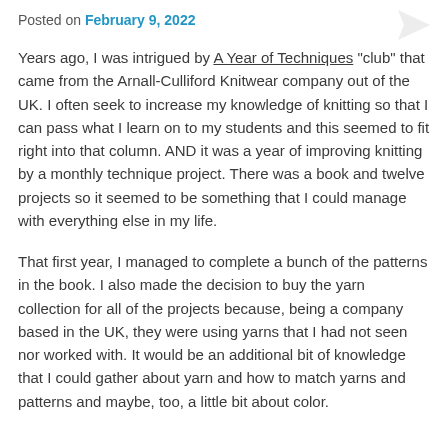Posted on February 9, 2022
Years ago, I was intrigued by A Year of Techniques “club” that came from the Arnall-Culliford Knitwear company out of the UK. I often seek to increase my knowledge of knitting so that I can pass what I learn on to my students and this seemed to fit right into that column. AND it was a year of improving knitting by a monthly technique project. There was a book and twelve projects so it seemed to be something that I could manage with everything else in my life.
That first year, I managed to complete a bunch of the patterns in the book. I also made the decision to buy the yarn collection for all of the projects because, being a company based in the UK, they were using yarns that I had not seen nor worked with. It would be an additional bit of knowledge that I could gather about yarn and how to match yarns and patterns and maybe, too, a little bit about color.